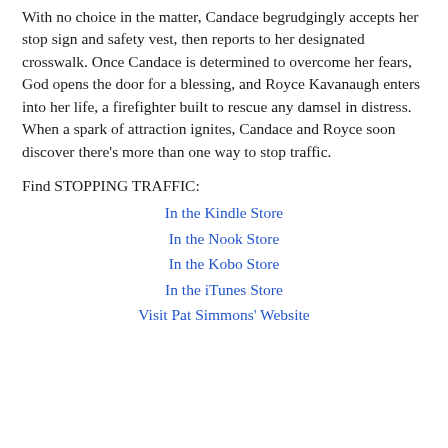With no choice in the matter, Candace begrudgingly accepts her stop sign and safety vest, then reports to her designated crosswalk. Once Candace is determined to overcome her fears, God opens the door for a blessing, and Royce Kavanaugh enters into her life, a firefighter built to rescue any damsel in distress. When a spark of attraction ignites, Candace and Royce soon discover there's more than one way to stop traffic.
Find STOPPING TRAFFIC:
In the Kindle Store
In the Nook Store
In the Kobo Store
In the iTunes Store
Visit Pat Simmons' Website